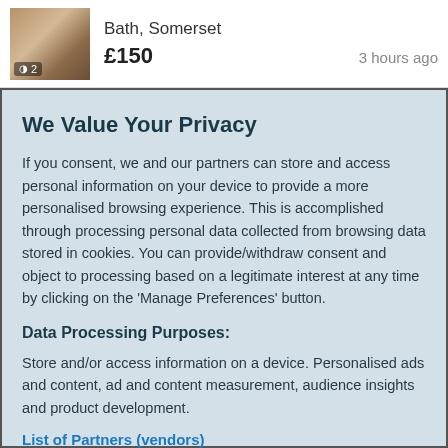[Figure (photo): Thumbnail photo of a wooden table/furniture item with camera icon and photo count '2' overlay]
Bath, Somerset
£150
3 hours ago
We Value Your Privacy
If you consent, we and our partners can store and access personal information on your device to provide a more personalised browsing experience. This is accomplished through processing personal data collected from browsing data stored in cookies. You can provide/withdraw consent and object to processing based on a legitimate interest at any time by clicking on the 'Manage Preferences' button.
Data Processing Purposes:
Store and/or access information on a device. Personalised ads and content, ad and content measurement, audience insights and product development.
List of Partners (vendors)
Accept
Manage your privacy settings